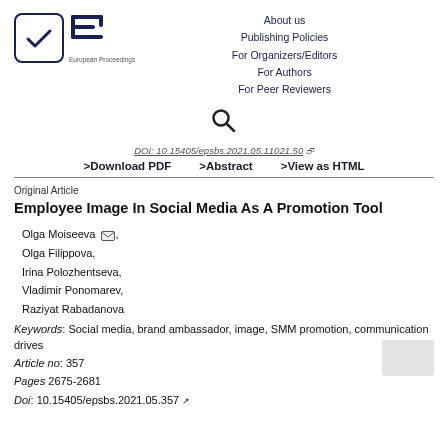[Figure (logo): European Proceedings logo: checkmark in a rounded square box, stylized EP letters with horizontal lines, text 'European Proceedings' below]
About us
Publishing Policies
For Organizers/Editors
For Authors
For Peer Reviewers
[Figure (other): Search icon (magnifying glass)]
DOI: 10.15405/epsbs.2021.05.11021.50
>Download PDF    >Abstract    >View as HTML
Original Article
Employee Image In Social Media As A Promotion Tool
Olga Moiseeva,
Olga Filippova,
Irina Polozhentseva,
Vladimir Ponomarev,
Raziyat Rabadanova
Keywords: Social media, brand ambassador, image, SMM promotion, communication drives
Article no: 357
Pages 2675-2681
Doi: 10.15405/epsbs.2021.05.357